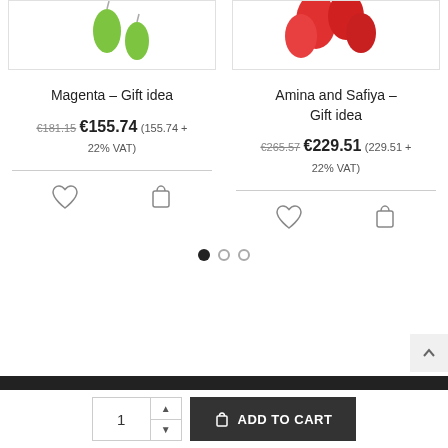[Figure (photo): Green oval earrings on white background, partially visible at top]
[Figure (photo): Red flower-shaped object on white background, partially visible at top]
Magenta – Gift idea
€181.15 €155.74 (155.74 + 22% VAT)
[Figure (other): Heart wishlist icon and shopping bag cart icon]
Amina and Safiya – Gift idea
€265.57 €229.51 (229.51 + 22% VAT)
[Figure (other): Heart wishlist icon and shopping bag cart icon]
[Figure (other): Pagination dots: one filled, two empty]
1
ADD TO CART